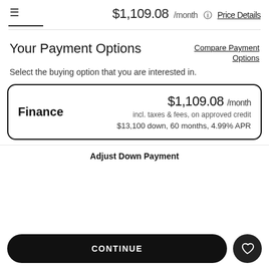$1,109.08 /month  Price Details
Your Payment Options
Compare Payment Options
Select the buying option that you are interested in.
| Option | Price | Details |
| --- | --- | --- |
| Finance | $1,109.08 /month | incl. taxes & fees, on approved credit
$13,100 down, 60 months, 4.99% APR |
Adjust Down Payment
CONTINUE